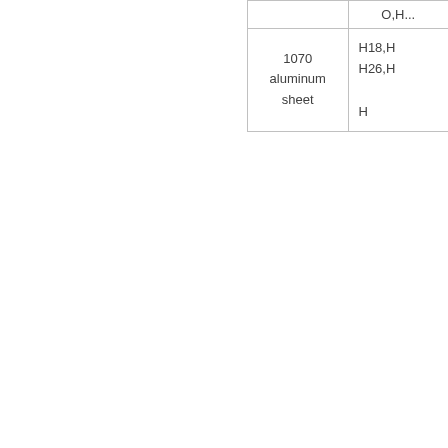|  |  |
| --- | --- |
|  | O,H,... |
| 1070 aluminum sheet | H18,H...
H26,H...
H... |
RELATED PRODU...
[Figure (other): Product card placeholder box (white rounded rectangle)]